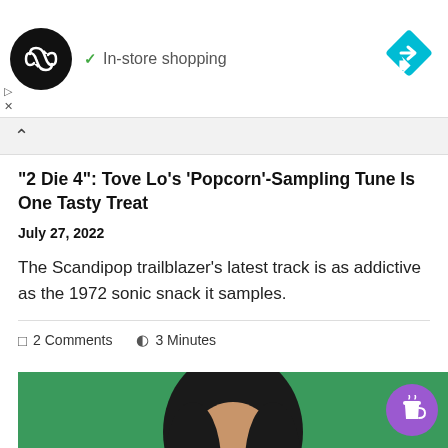[Figure (screenshot): Ad banner with a black circular logo with infinity-like arrows, green checkmark and 'In-store shopping' text, and a blue diamond arrow icon on the right]
“2 Die 4”: Tove Lo’s ‘Popcorn’-Sampling Tune Is One Tasty Treat
July 27, 2022
The Scandipop trailblazer’s latest track is as addictive as the 1972 sonic snack it samples.
2 Comments   3 Minutes
[Figure (photo): Photo of a woman with dark hair against a green background, partial view cropped at bottom of page]